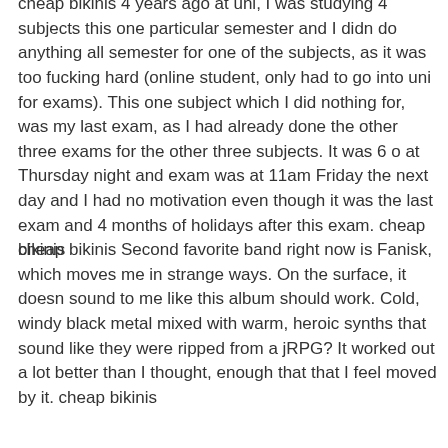cheap bikinis 4 years ago at uni, I was studying 4 subjects this one particular semester and I didn do anything all semester for one of the subjects, as it was too fucking hard (online student, only had to go into uni for exams). This one subject which I did nothing for, was my last exam, as I had already done the other three exams for the other three subjects. It was 6 o at Thursday night and exam was at 11am Friday the next day and I had no motivation even though it was the last exam and 4 months of holidays after this exam. cheap bikinis
cheap bikinis Second favorite band right now is Fanisk, which moves me in strange ways. On the surface, it doesn sound to me like this album should work. Cold, windy black metal mixed with warm, heroic synths that sound like they were ripped from a jRPG? It worked out a lot better than I thought, enough that that I feel moved by it. cheap bikinis